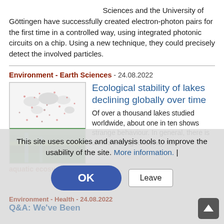Sciences and the University of Göttingen have successfully created electron-photon pairs for the first time in a controlled way, using integrated photonic circuits on a chip. Using a new technique, they could precisely detect the involved particles.
Environment - Earth Sciences - 24.08.2022
[Figure (photo): Composite image showing a world map with scattered dots/marks and a landscape/river photo below it]
Ecological stability of lakes declining globally over time
Of over a thousand lakes studied worldwide, about one in ten shows strange behaviour. In general, there is an increasing tendency for
This site uses cookies and analysis tools to improve the usability of the site. More information. |